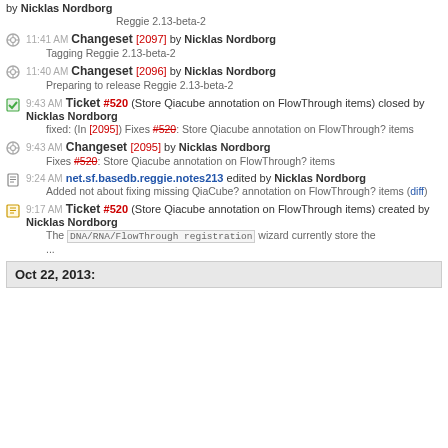by Nicklas Nordborg
Reggie 2.13-beta-2
11:41 AM Changeset [2097] by Nicklas Nordborg
Tagging Reggie 2.13-beta-2
11:40 AM Changeset [2096] by Nicklas Nordborg
Preparing to release Reggie 2.13-beta-2
9:43 AM Ticket #520 (Store Qiacube annotation on FlowThrough items) closed by Nicklas Nordborg
fixed: (In [2095]) Fixes #520: Store Qiacube annotation on FlowThrough? items
9:43 AM Changeset [2095] by Nicklas Nordborg
Fixes #520: Store Qiacube annotation on FlowThrough? items
9:24 AM net.sf.basedb.reggie.notes213 edited by Nicklas Nordborg
Added not about fixing missing QiaCube? annotation on FlowThrough? items (diff)
9:17 AM Ticket #520 (Store Qiacube annotation on FlowThrough items) created by Nicklas Nordborg
The DNA/RNA/FlowThrough registration wizard currently store the ...
Oct 22, 2013: